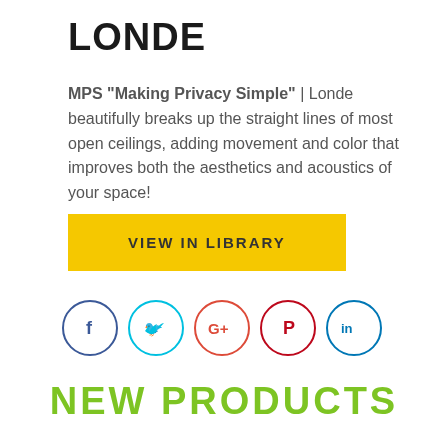LONDE
MPS “Making Privacy Simple” | Londe beautifully breaks up the straight lines of most open ceilings, adding movement and color that improves both the aesthetics and acoustics of your space!
VIEW IN LIBRARY
[Figure (infographic): Row of five social media icon circles: Facebook (dark blue), Twitter (cyan), Google+ (red), Pinterest (red), LinkedIn (blue)]
NEW PRODUCTS